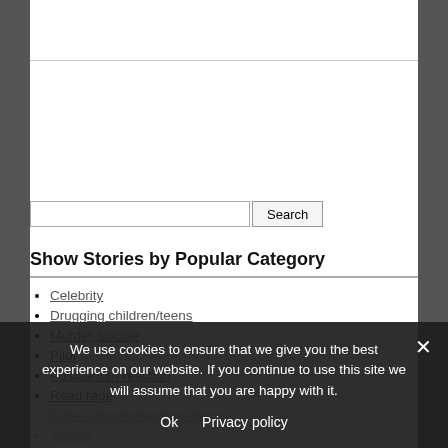Show Stories by Popular Category
Celebrity
Drugging children/teens
Murder-suicide
Pilot
Postpartum reaction
Road rage
Sober shooter/random attack
Torture
Woman teaches motherhood
Workplace violence
We use cookies to ensure that we give you the best experience on our website. If you continue to use this site we will assume that you are happy with it.
Ok   Privacy policy